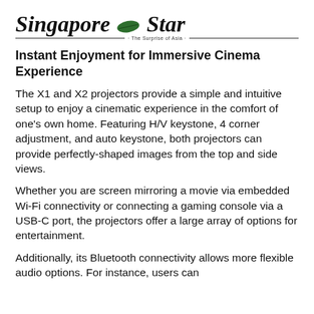Singapore Star · The Surprise of Asia
Instant Enjoyment for Immersive Cinema Experience
The X1 and X2 projectors provide a simple and intuitive setup to enjoy a cinematic experience in the comfort of one's own home. Featuring H/V keystone, 4 corner adjustment, and auto keystone, both projectors can provide perfectly-shaped images from the top and side views.
Whether you are screen mirroring a movie via embedded Wi-Fi connectivity or connecting a gaming console via a USB-C port, the projectors offer a large array of options for entertainment.
Additionally, its Bluetooth connectivity allows more flexible audio options. For instance, users can